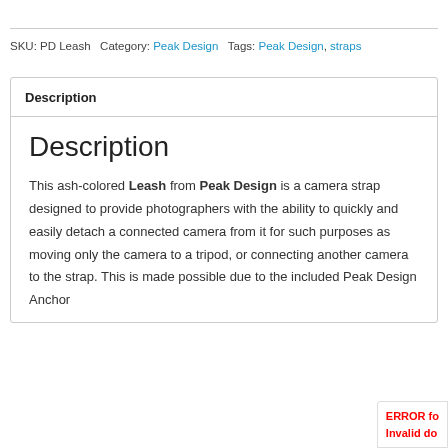SKU: PD Leash Category: Peak Design Tags: Peak Design, straps
Description
Description
This ash-colored Leash from Peak Design is a camera strap designed to provide photographers with the ability to quickly and easily detach a connected camera from it for such purposes as moving only the camera to a tripod, or connecting another camera to the strap. This is made possible due to the included Peak Design Anchor